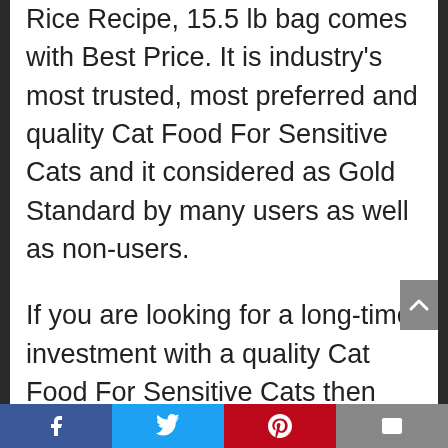Rice Recipe, 15.5 lb bag comes with Best Price. It is industry's most trusted, most preferred and quality Cat Food For Sensitive Cats and it considered as Gold Standard by many users as well as non-users.
If you are looking for a long-time investment with a quality Cat Food For Sensitive Cats then don't look beyond Hill's Science Diet Dry Cat Food, Adult, Sensitive Stomach & Skin, Chicken & Rice Recipe, 15.5 lb bag. The product is featured, highlighted and appreciated in Reviews of Cat Food For Sensitive Cats in 2020 and this has been backed by many users.